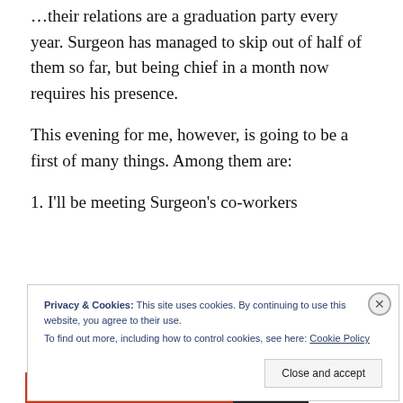…their relations are a graduation party every year. Surgeon has managed to skip out of half of them so far, but being chief in a month now requires his presence.
This evening for me, however, is going to be a first of many things. Among them are:
1. I'll be meeting Surgeon's co-workers
Privacy & Cookies: This site uses cookies. By continuing to use this website, you agree to their use. To find out more, including how to control cookies, see here: Cookie Policy
Close and accept